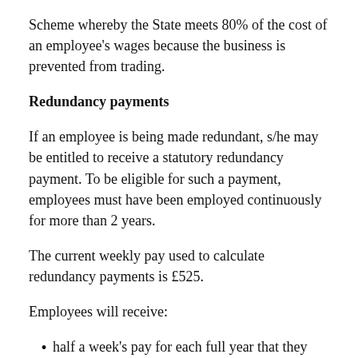Scheme whereby the State meets 80% of the cost of an employee's wages because the business is prevented from trading.
Redundancy payments
If an employee is being made redundant, s/he may be entitled to receive a statutory redundancy payment. To be eligible for such a payment, employees must have been employed continuously for more than 2 years.
The current weekly pay used to calculate redundancy payments is £525.
Employees will receive:
half a week's pay for each full year that they were employed under 22 years old.